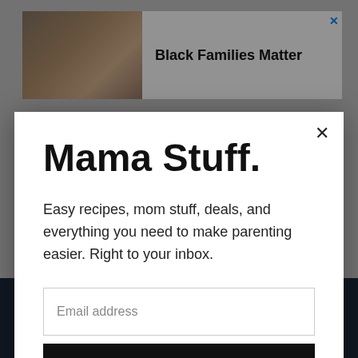[Figure (screenshot): Advertisement banner showing a family photo and text 'Black Families Matter' with a close button]
Mama Stuff.
Easy recipes, mom stuff, deals, and everything you need to make parenting easier. Right to your inbox.
Email address
Subscribe
[Figure (screenshot): Dark blue banner at bottom reading 'SHE CAN STEM' in bold white letters]